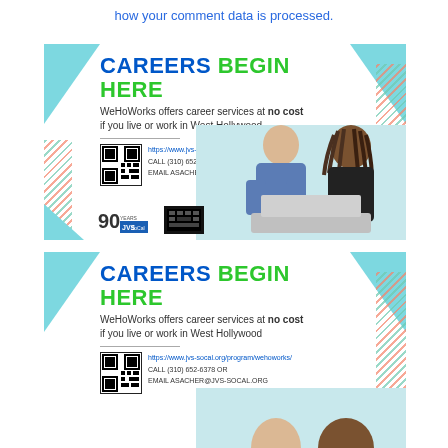how your comment data is processed.
[Figure (infographic): WeHoWorks careers ad: CAREERS BEGIN HERE - WeHoWorks offers career services at no cost if you live or work in West Hollywood. URL, phone, email, QR code, two people at laptop, JVS SoCal 90th anniversary logo.]
[Figure (infographic): Second identical WeHoWorks careers ad (partially visible): CAREERS BEGIN HERE - WeHoWorks offers career services at no cost if you live or work in West Hollywood. URL, phone, email, QR code.]